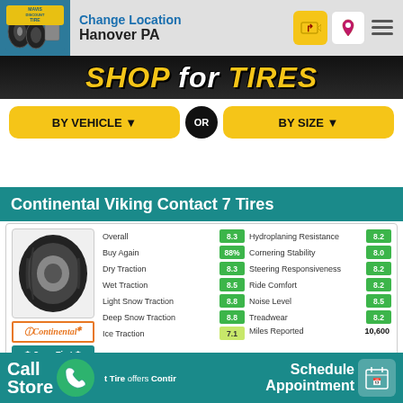Mavis Discount Tire — Change Location — Hanover PA
[Figure (screenshot): Shop for Tires banner with yellow italic text on dark background]
BY VEHICLE ▼   OR   BY SIZE ▼
Continental Viking Contact 7 Tires
| Category | Score | Category | Score |
| --- | --- | --- | --- |
| Overall | 8.3 | Hydroplaning Resistance | 8.2 |
| Buy Again | 88% | Cornering Stability | 8.0 |
| Dry Traction | 8.3 | Steering Responsiveness | 8.2 |
| Wet Traction | 8.5 | Ride Comfort | 8.2 |
| Light Snow Traction | 8.8 | Noise Level | 8.5 |
| Deep Snow Traction | 8.8 | Treadwear | 8.2 |
| Ice Traction | 7.1 | Miles Reported | 10,600 |
8-10 = excellent   6-7 = good   4-5 = fair   1-3 = poor
guide to ratings
Call Store   Schedule Appointment   Tire offers Contin…